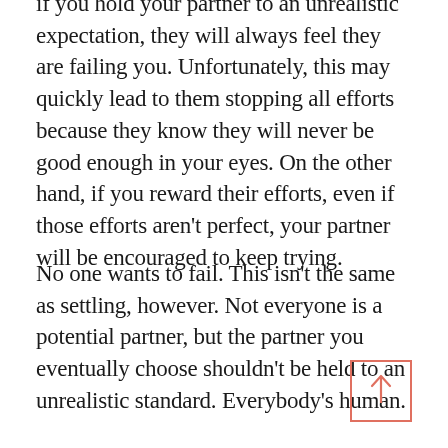if you hold your partner to an unrealistic expectation, they will always feel they are failing you. Unfortunately, this may quickly lead to them stopping all efforts because they know they will never be good enough in your eyes. On the other hand, if you reward their efforts, even if those efforts aren't perfect, your partner will be encouraged to keep trying.
No one wants to fail. This isn't the same as settling, however. Not everyone is a potential partner, but the partner you eventually choose shouldn't be held to an unrealistic standard. Everybody's human.